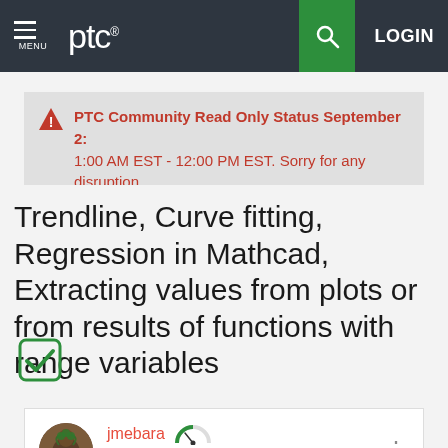MENU | ptc® | [search] | LOGIN
⚠ PTC Community Read Only Status September 2: 1:00 AM EST - 12:00 PM EST. Sorry for any disruption.
Trendline, Curve fitting, Regression in Mathcad, Extracting values from plots or from results of functions with range variables
[Figure (illustration): Green checkmark icon in a rounded square]
jmebara  11-Garnet